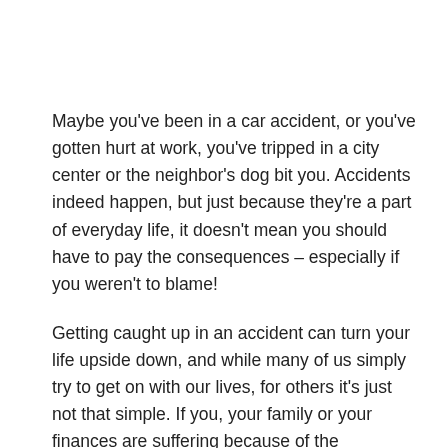Maybe you've been in a car accident, or you've gotten hurt at work, you've tripped in a city center or the neighbor's dog bit you. Accidents indeed happen, but just because they're a part of everyday life, it doesn't mean you should have to pay the consequences – especially if you weren't to blame!
Getting caught up in an accident can turn your life upside down, and while many of us simply try to get on with our lives, for others it's just not that simple. If you, your family or your finances are suffering because of the negligence of someone else, then you may need to speak to a personal injury lawyer. You can find a personal injury lawyer here, just click the link.